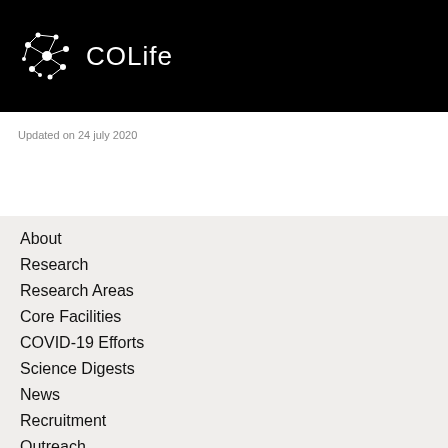[Figure (logo): COLife logo: white dots and lines forming a network/molecule icon, with text 'COLife' in white on black background]
Updated on 24 july 2020
About
Research
Research Areas
Core Facilities
COVID-19 Efforts
Science Digests
News
Recruitment
Outreach
Contacts